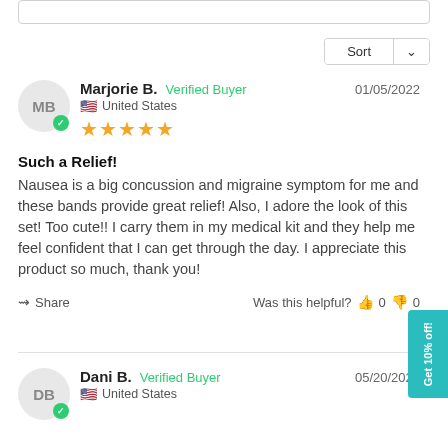Sort (dropdown)
Marjorie B. Verified Buyer 01/05/2022 United States ★★★★★
Such a Relief!
Nausea is a big concussion and migraine symptom for me and these bands provide great relief! Also, I adore the look of this set! Too cute!! I carry them in my medical kit and they help me feel confident that I can get through the day. I appreciate this product so much, thank you!
Share   Was this helpful? 👍 0 👎 0
Dani B. Verified Buyer 05/20/2021 United States